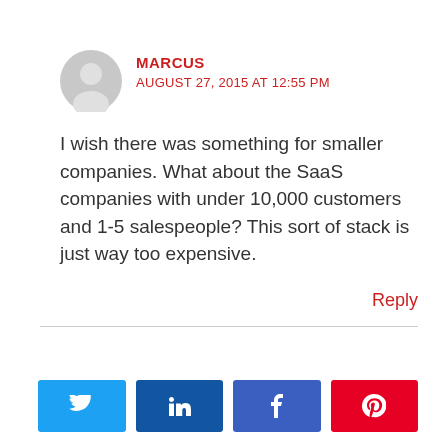MARCUS
AUGUST 27, 2015 AT 12:55 PM
I wish there was something for smaller companies. What about the SaaS companies with under 10,000 customers and 1-5 salespeople? This sort of stack is just way too expensive.
Reply